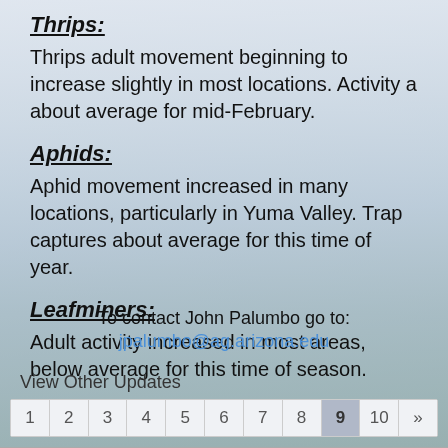Thrips:
Thrips adult movement beginning to increase slightly in most locations. Activity a about average for mid-February.
Aphids:
Aphid movement increased in many locations, particularly in Yuma Valley. Trap captures about average for this time of year.
Leafminers:
Adult activity increased in most areas, below average for this time of season.
To contact John Palumbo go to:
jpalumbo@ag.arizona.edu
View Other Updates
1 2 3 4 5 6 7 8 9 10 »